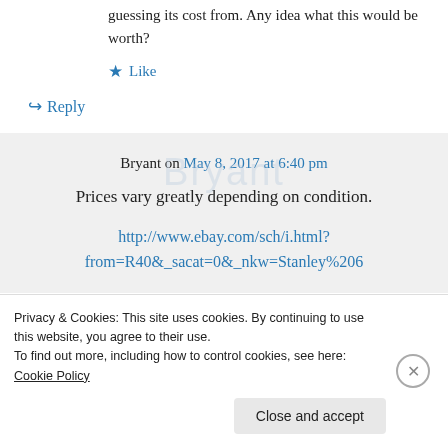guessing its cost from. Any idea what this would be worth?
★ Like
↪ Reply
Bryant on May 8, 2017 at 6:40 pm
Prices vary greatly depending on condition.
http://www.ebay.com/sch/i.html?from=R40&_sacat=0&_nkw=Stanley%206
Privacy & Cookies: This site uses cookies. By continuing to use this website, you agree to their use.
To find out more, including how to control cookies, see here: Cookie Policy
Close and accept